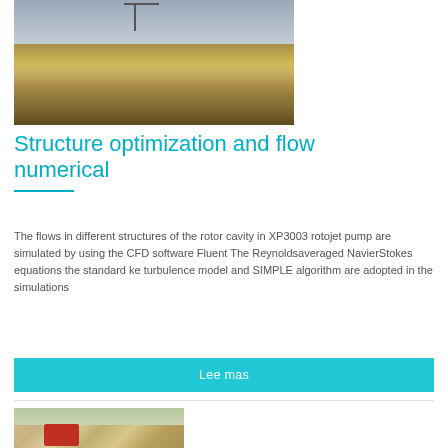[Figure (photo): Aerial/elevated view of a large industrial construction site with yellow machinery, cranes, and mountains in the background under a cloudy sky.]
Structure optimization and flow numerical
The flows in different structures of the rotor cavity in XP3003 rotojet pump are simulated by using the CFD software Fluent The Reynoldsaveraged NavierStokes equations the standard ke turbulence model and SIMPLE algorithm are adopted in the simulations
Lee mas
[Figure (photo): Outdoor industrial site with reddish machinery and conveyor belts, sand or gravel mounds visible in the background.]